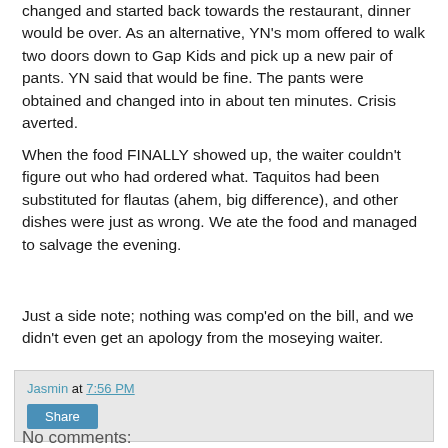changed and started back towards the restaurant, dinner would be over. As an alternative, YN's mom offered to walk two doors down to Gap Kids and pick up a new pair of pants. YN said that would be fine. The pants were obtained and changed into in about ten minutes. Crisis averted.
When the food FINALLY showed up, the waiter couldn't figure out who had ordered what. Taquitos had been substituted for flautas (ahem, big difference), and other dishes were just as wrong. We ate the food and managed to salvage the evening.
Just a side note; nothing was comp'ed on the bill, and we didn't even get an apology from the moseying waiter.
Jasmin at 7:56 PM
Share
No comments: